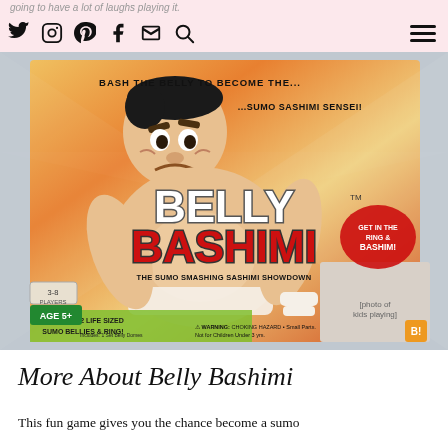going to have a lot of laughs playing it.
[Figure (photo): Product box for Belly Bashimi board game showing a cartoon sumo wrestler with the game title 'Belly Bashimi' and tagline 'Bash the Belly to Become the Sumo Sashimi Sensei! The Sumo Smashing Sashimi Showdown'. Contains 2 life sized sumo bellies & ring. Age 5+. 3-8 players.]
More About Belly Bashimi
This fun game gives you the chance become a sumo